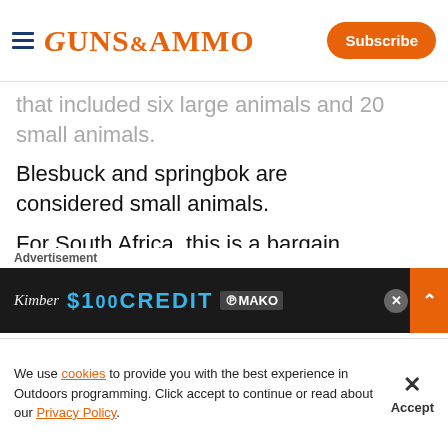GUNS&AMMO | Subscribe
that included six large animals and 20 small animals.
Blesbuck and springbok are considered small animals.
For South Africa, this is a bargain.
You can also upgrade on a specific animal if you ever want to.
The food and accommodations were wonderful.
When you're being guided by a pro...
[Figure (screenshot): Advertisement banner: Kimber $100 Credit MAKO promotion with close and expand buttons]
We use cookies to provide you with the best experience in Outdoors programming. Click accept to continue or read about our Privacy Policy.